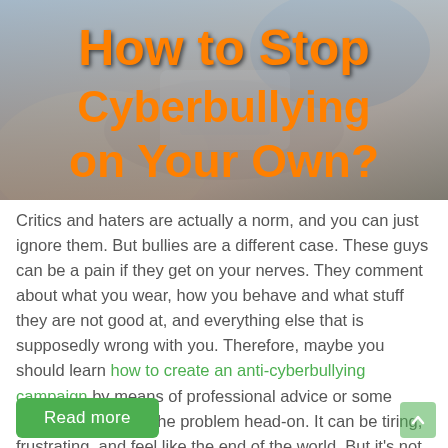[Figure (photo): Background photo of a person using a smartphone, with title text 'How to Stop Cyberbullying on Your Own?' overlaid in orange bold font]
Critics and haters are actually a norm, and you can just ignore them. But bullies are a different case. These guys can be a pain if they get on your nerves. They comment about what you wear, how you behave and what stuff they are not good at, and everything else that is supposedly wrong with you. Therefore, maybe you should learn how to create an anti-cyberbullying campaign by means of professional advice or some services, or tackle the problem head-on. It can be tiring, frustrating, and feel like the end of the world. But it's not so. It's just the beginning of a fresh start because you are about to say "goodbye" to bullies...